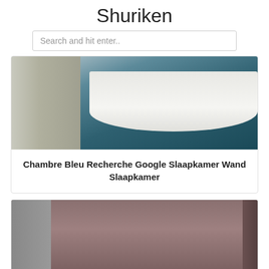Shuriken
Search and hit enter..
[Figure (photo): Photo of a blue bedroom with white bedding and pillows stacked on a bed, teal/blue accent wall, neutral side chair]
Chambre Bleu Recherche Google Slaapkamer Wand Slaapkamer
[Figure (photo): Photo of a rose/mauve bedroom with upholstered headboard, white pillows, curtains, and a framed artwork on the wall]